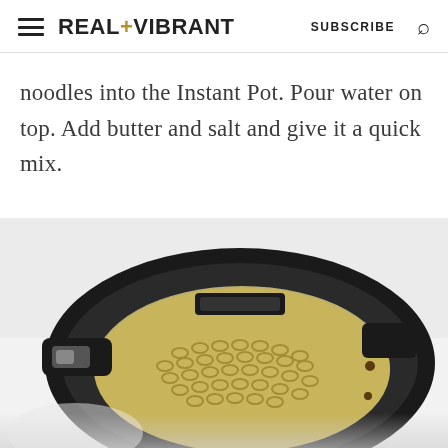REAL+VIBRANT   SUBSCRIBE
noodles into the Instant Pot. Pour water on top. Add butter and salt and give it a quick mix.
[Figure (photo): Top-down view of an Instant Pot pressure cooker with uncooked elbow macaroni noodles and water inside, viewed from above at a slight angle. The pot's black exterior and silver inner pot are visible.]